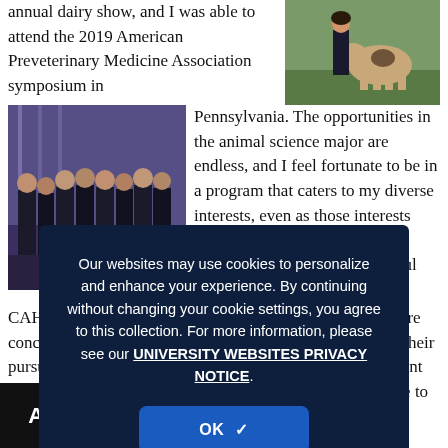annual dairy show, and I was able to attend the 2019 American Preveterinary Medicine Association symposium in
[Figure (photo): Photo of a person standing with a cow outdoors on grass]
[Figure (photo): Group photo of several people standing together in a dimly lit venue with purple/blue lighting]
Pennsylvania. The opportunities in the animal science major are endless, and I feel fortunate to be in a program that caters to my diverse interests, even as those interests have changed. My college experience has been a wonderful thing about CAHNR and the animal science major. And though there are concentrations to guide students towards the next steps in their pursuits, nothing is completely set in stone and every student has the ability to shape their classes and college experience to ... to be.
Our websites may use cookies to personalize and enhance your experience. By continuing without changing your cookie settings, you agree to this collection. For more information, please see our UNIVERSITY WEBSITES PRIVACY NOTICE.
[Figure (logo): AV logo with downward arrow in white on black background]